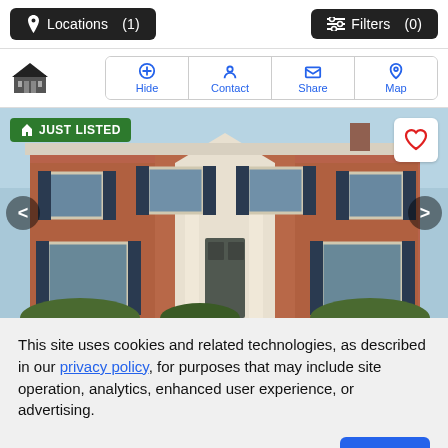Locations (1)  Filters (0)
[Figure (screenshot): Listing header with house icon and action buttons: Hide, Contact, Share, Map]
[Figure (photo): Two-story red brick colonial house with white columns, black shutters, labeled JUST LISTED. Carousel arrows on sides, heart/favorite button top right.]
This site uses cookies and related technologies, as described in our privacy policy, for purposes that may include site operation, analytics, enhanced user experience, or advertising.
Manage Preferences  Accept